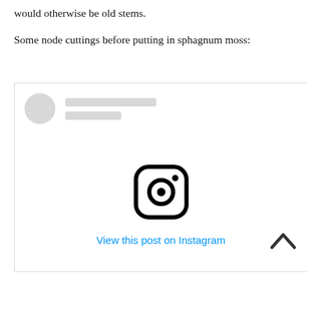would otherwise be old stems.
Some node cuttings before putting in sphagnum moss:
[Figure (screenshot): An Instagram embed placeholder showing a grey avatar circle, two grey name bar placeholders, the Instagram logo icon in the center, a 'View this post on Instagram' link in blue, and a back-to-top chevron arrow in the bottom right corner.]